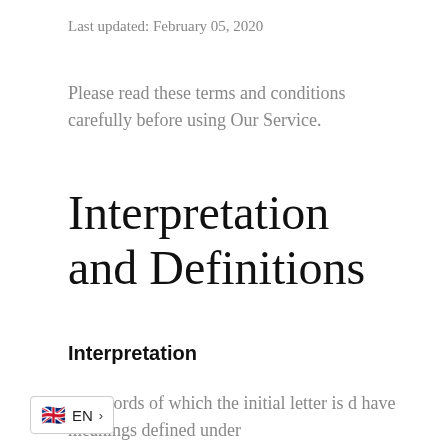Last updated: February 05, 2020
Please read these terms and conditions carefully before using Our Service.
Interpretation and Definitions
Interpretation
The words of which the initial letter is capitalized have meanings defined under the following conditions.